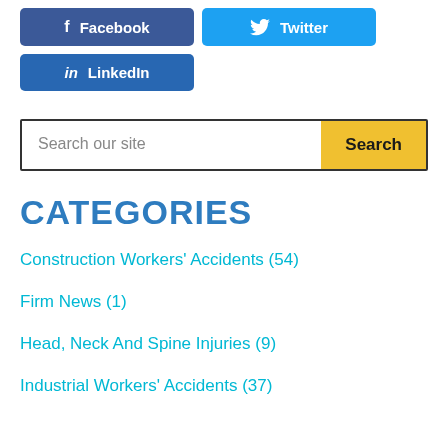[Figure (other): Facebook social share button (dark blue with 'f' icon and 'Facebook' text)]
[Figure (other): Twitter social share button (light blue with bird icon and 'Twitter' text)]
[Figure (other): LinkedIn social share button (medium blue with 'in' icon and 'LinkedIn' text)]
Search our site
CATEGORIES
Construction Workers' Accidents (54)
Firm News (1)
Head, Neck And Spine Injuries (9)
Industrial Workers' Accidents (37)